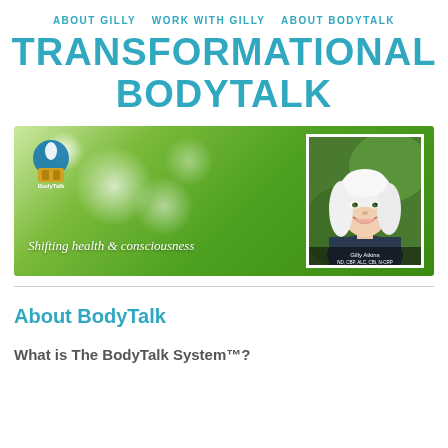ABOUT GILLY   WORK WITH GILLY   ABOUT BODYTALK
TRANSFORMATIONAL BODYTALK
[Figure (photo): Banner image with green bokeh background, BodyTalk logo top left, tagline 'Shifting health & consciousness', and photo of Gilly Atkins on the right]
About BodyTalk
What is The BodyTalk System™?